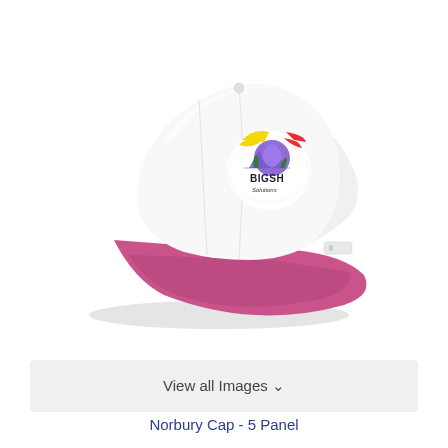[Figure (photo): A white and pink two-tone baseball cap (5 panel style) with a colorful 'BIGSH' branded logo on the front panel. The cap body is white and the brim is pink/magenta. The logo features mountains, colorful graphic elements, and text.]
View all Images ∨
Norbury Cap - 5 Panel